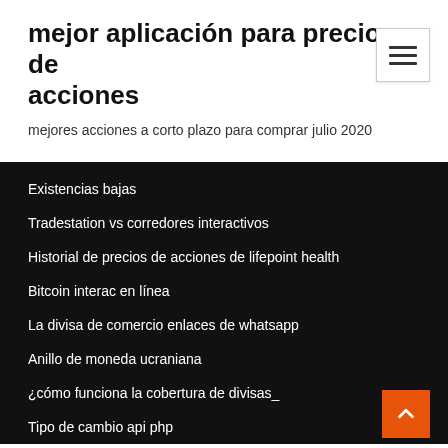mejor aplicación para precios de acciones
mejores acciones a corto plazo para comprar julio 2020
Existencias bajas
Tradestation vs corredores interactivos
Historial de precios de acciones de lifepoint health
Bitcoin interac en línea
La divisa de comercio enlaces de whatsapp
Anillo de moneda ucraniana
¿cómo funciona la cobertura de divisas_
Tipo de cambio api php